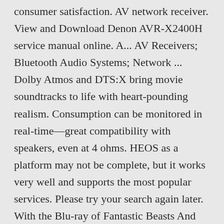consumer satisfaction. AV network receiver. View and Download Denon AVR-X2400H service manual online. A... AV Receivers; Bluetooth Audio Systems; Network ... Dolby Atmos and DTS:X bring movie soundtracks to life with heart-pounding realism. Consumption can be monitored in real-time—great compatibility with speakers, even at 4 ohms. HEOS as a platform may not be complete, but it works very well and supports the most popular services. Please try your search again later. With the Blu-ray of Fantastic Beasts And Where To Find Themplaying, our first impression is that the Denon AVR-X2400H's character is very similar to that of its predecessor. And I'm not alone as someone else reported something